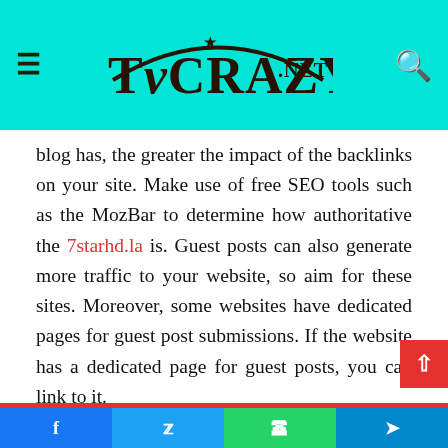TVCRAZY.NET
blog has, the greater the impact of the backlinks on your site. Make use of free SEO tools such as the MozBar to determine how authoritative the 7starhd.la is. Guest posts can also generate more traffic to your website, so aim for these sites. Moreover, some websites have dedicated pages for guest post submissions. If the website has a dedicated page for guest posts, you can link to it.
Guest posts will also contain a biographical paragraph, which will allow readers to learn more about the author. Most of the time, this biographical paragraph will be accompanied by a hyperlink to their website. It is also important to ask for a link in the body of the post.